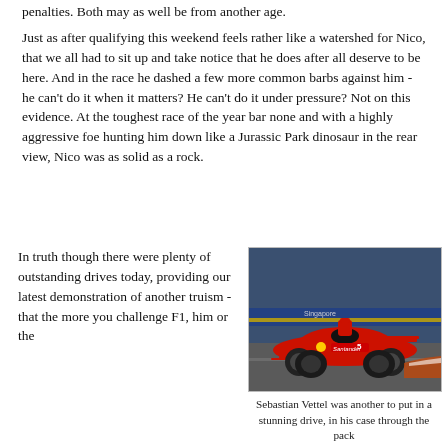penalties. Both may as well be from another age.
Just as after qualifying this weekend feels rather like a watershed for Nico, that we all had to sit up and take notice that he does after all deserve to be here. And in the race he dashed a few more common barbs against him - he can't do it when it matters? He can't do it under pressure? Not on this evidence. At the toughest race of the year bar none and with a highly aggressive foe hunting him down like a Jurassic Park dinosaur in the rear view, Nico was as solid as a rock.
In truth though there were plenty of outstanding drives today, providing our latest demonstration of another truism - that the more you challenge F1, him or the...
[Figure (photo): A red Ferrari Formula 1 car driven by Sebastian Vettel racing on a street circuit at night, with blue and yellow barriers visible in the background. The car prominently displays the Santander logo.]
Sebastian Vettel was another to put in a stunning drive, in his case through the pack